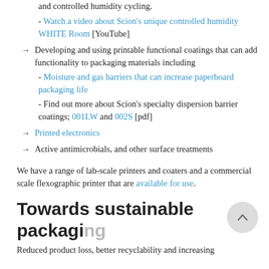and controlled humidity cycling.
- Watch a video about Scion's unique controlled humidity WHITE Room [YouTube]
Developing and using printable functional coatings that can add functionality to packaging materials including
- Moisture and gas barriers that can increase paperboard packaging life
- Find out more about Scion's specialty dispersion barrier coatings; 001LW and 002S [pdf]
Printed electronics
Active antimicrobials, and other surface treatments
We have a range of lab-scale printers and coaters and a commercial scale flexographic printer that are available for use.
Towards sustainable packaging
Reduced product loss, better recyclability and increasing